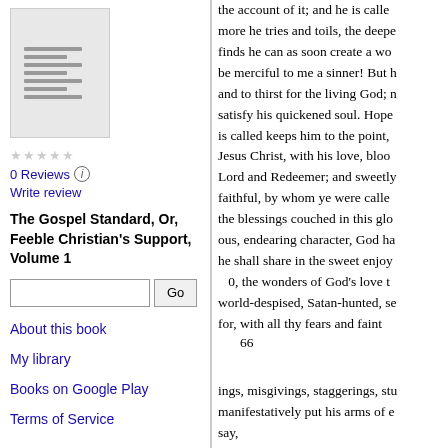[Figure (illustration): Book cover thumbnail for The Gospel Standard, Or, Feeble Christian's Support, Volume 1]
0 Reviews
Write review
The Gospel Standard, Or, Feeble Christian's Support, Volume 1
About this book
My library
Books on Google Play
Terms of Service
the account of it; and he is calle more he tries and toils, the deepe finds he can as soon create a wo be merciful to me a sinner! But h and to thirst for the living God; n satisfy his quickened soul. Hope is called keeps him to the point, Jesus Christ, with his love, bloo Lord and Redeemer; and sweetly faithful, by whom ye were calle the blessings couched in this glo ous, endearing character, God ha he shall share in the sweet enjoy O, the wonders of God's love t world-despised, Satan-hunted, se for, with all thy fears and faint
66
ings, misgivings, staggerings, stu manifestatively put his arms of e say, « Come with me from Lebano